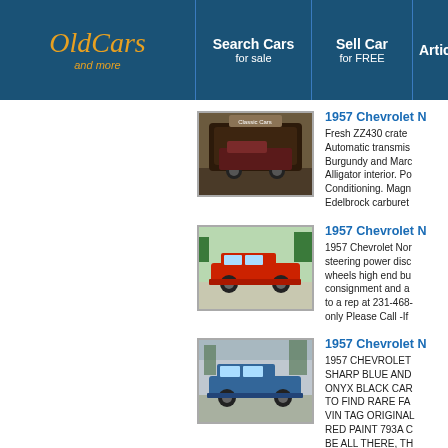OldCars and more | Search Cars for sale | Sell Car for FREE | Artic...
[Figure (photo): 1957 Chevrolet classic car (dark/burgundy) parked inside a dealership showroom]
1957 Chevrolet N
Fresh ZZ430 crate Automatic transmission Burgundy and Marc Alligator interior. Po Conditioning. Magn Edelbrock carburetor
[Figure (photo): 1957 Chevrolet red station wagon parked outdoors]
1957 Chevrolet N
1957 Chevrolet Nor steering power disc wheels high end bu consignment and a to a rep at 231-468- only Please Call -If
[Figure (photo): 1957 Chevrolet blue station wagon parked outdoors]
1957 Chevrolet N
1957 CHEVROLET SHARP BLUE AND ONYX BLACK CAR TO FIND RARE FA VIN TAG ORIGINAL RED PAINT 793A C BE ALL THERE, TH